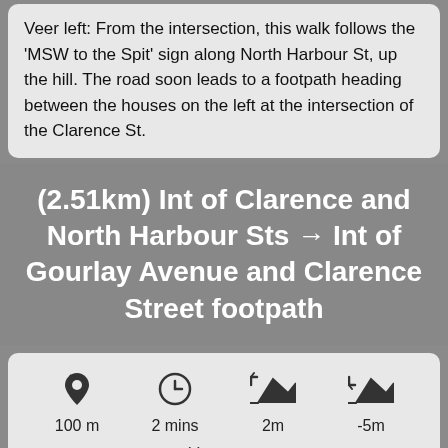Veer left: From the intersection, this walk follows the 'MSW to the Spit' sign along North Harbour St, up the hill. The road soon leads to a footpath heading between the houses on the left at the intersection of the Clarence St.
(2.51km) Int of Clarence and North Harbour Sts → Int of Gourlay Avenue and Clarence Street footpath
| Distance | Time | Ascent | Descent |
| --- | --- | --- | --- |
| 100 m | 2 mins | 2m | -5m |
Very easy
Turn left: From the intersection, this walk follows 'The Spit' sign along the footpath, down the hill away from Clarence St. The footpath then passes over a bridge from the rear of the